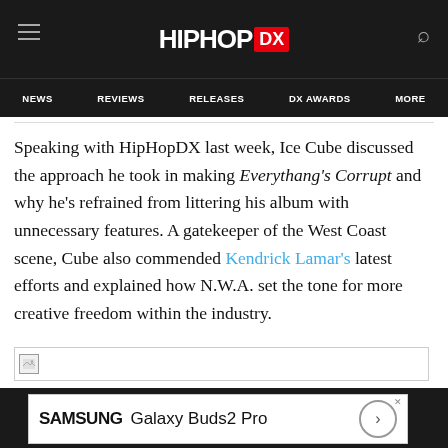HIPHOP DX — NEWS | REVIEWS | RELEASES | DX AWARDS | MORE
Speaking with HipHopDX last week, Ice Cube discussed the approach he took in making Everythang's Corrupt and why he's refrained from littering his album with unnecessary features. A gatekeeper of the West Coast scene, Cube also commended Kendrick Lamar's latest efforts and explained how N.W.A. set the tone for more creative freedom within the industry.
[Figure (photo): Image placeholder with broken image icon]
Samsung Galaxy Buds2 Pro advertisement